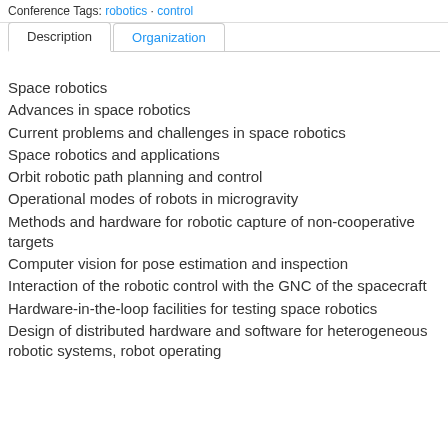Conference Tags: robotics · control
Description | Organization (tabs)
Space robotics
Advances in space robotics
Current problems and challenges in space robotics
Space robotics and applications
Orbit robotic path planning and control
Operational modes of robots in microgravity
Methods and hardware for robotic capture of non-cooperative targets
Computer vision for pose estimation and inspection
Interaction of the robotic control with the GNC of the spacecraft
Hardware-in-the-loop facilities for testing space robotics
Design of distributed hardware and software for heterogeneous robotic systems, robot operating